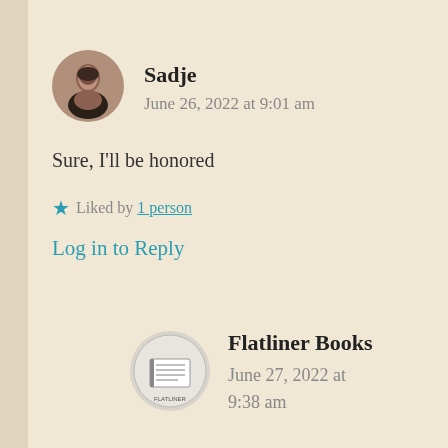Sadje
June 26, 2022 at 9:01 am
Sure, I'll be honored
★ Liked by 1 person
Log in to Reply
[Figure (photo): Circular avatar photo of a person with dark hair]
Flatliner Books
June 27, 2022 at 9:38 am
[Figure (logo): Circular book publisher logo for Flatliner Books with a book illustration]